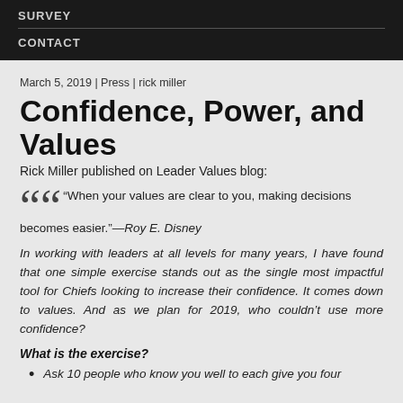SURVEY
CONTACT
March 5, 2019 | Press | rick miller
Confidence, Power, and Values
Rick Miller published on Leader Values blog:
“When your values are clear to you, making decisions becomes easier.”—Roy E. Disney
In working with leaders at all levels for many years, I have found that one simple exercise stands out as the single most impactful tool for Chiefs looking to increase their confidence. It comes down to values. And as we plan for 2019, who couldn’t use more confidence?
What is the exercise?
Ask 10 people who know you well to each give you four